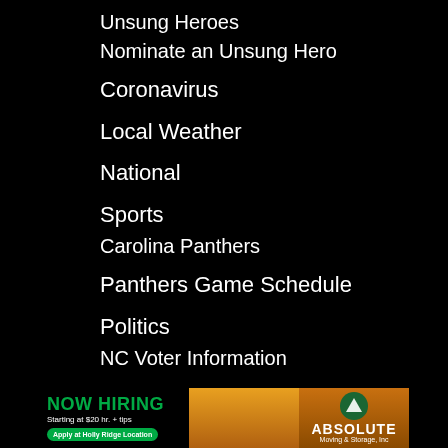Unsung Heroes
Nominate an Unsung Hero
Coronavirus
Local Weather
National
Sports
Carolina Panthers
Panthers Game Schedule
Politics
NC Voter Information
Health
MORE…
Entertainment
[Figure (infographic): Advertisement banner for Absolute Moving & Storage, Inc. NOW HIRING, Starting at $20 hr. + tips, Apply at Holly Ridge Location]